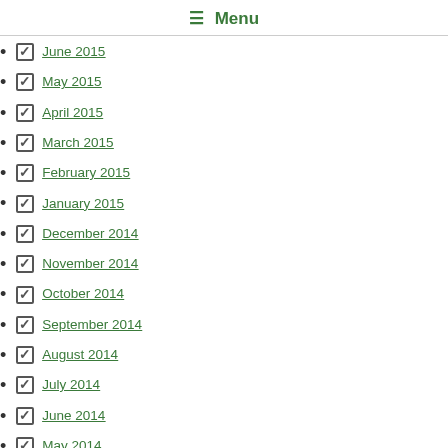☰ Menu
June 2015
May 2015
April 2015
March 2015
February 2015
January 2015
December 2014
November 2014
October 2014
September 2014
August 2014
July 2014
June 2014
May 2014